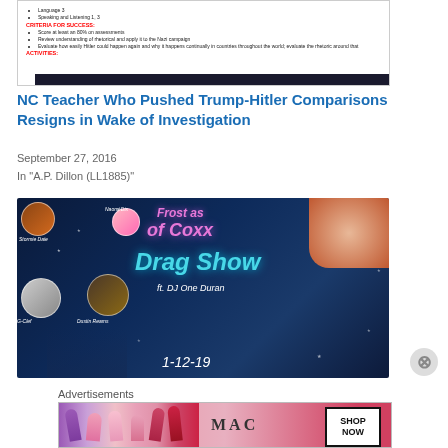[Figure (screenshot): Screenshot of a classroom document showing CRITERIA FOR SUCCESS and ACTIVITIES sections with bullet points about assessments, rhetoric, and Hitler/Nazi campaign evaluation.]
NC Teacher Who Pushed Trump-Hitler Comparisons Resigns in Wake of Investigation
September 27, 2016
In "A.P. Dillon (LL1885)"
[Figure (photo): Drag Show promotional flyer with dark blue starry background showing performers: Naomi Dix, Stormie Daie, G-Clef, Dustin Reams. Text reads 'of Coxx Drag Show ft. DJ One Duran 1-12-19' in pink and teal cursive lettering.]
Advertisements
[Figure (photo): MAC cosmetics advertisement showing lipsticks and the MAC logo with a SHOP NOW button.]